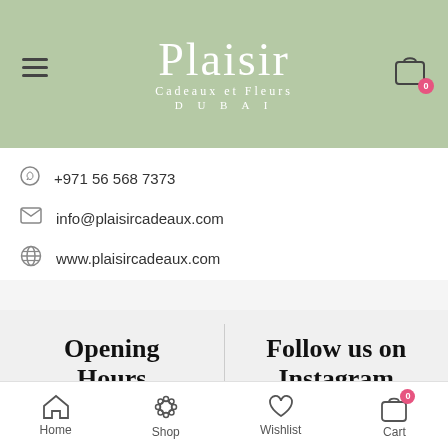[Figure (logo): Plaisir Cadeaux et Fleurs Dubai logo on sage green background with floral decoration, hamburger menu icon on left, shopping cart icon with badge '0' on right]
+971 56 568 7373
info@plaisircadeaux.com
www.plaisircadeaux.com
Opening Hours
Follow us on Instagram
Home  Shop  Wishlist  Cart